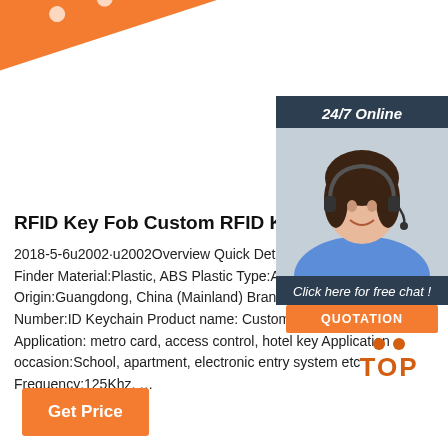[Figure (illustration): Orange diagonal banner with white dots across the top of the page]
[Figure (photo): Customer service agent (woman with headset) photo with 24/7 Online header, click here for free chat text, and QUOTATION button in a dark panel on the right side]
RFID Key Fob Custom RFID Keychain ID Keychain
2018-5-6u2002·u2002Overview Quick Details Type: Finder Material:Plastic, ABS Plastic Type:ABS Place Origin:Guangdong, China (Mainland) Brand Name:C Number:ID Keychain Product name: Custom RFID K Application: metro card, access control, hotel key Application occasion:School, apartment, electronic entry system etc Frequency:125Khz, …
[Figure (logo): TOP logo with orange triangle/arrow dots above the word TOP in orange]
Get Price